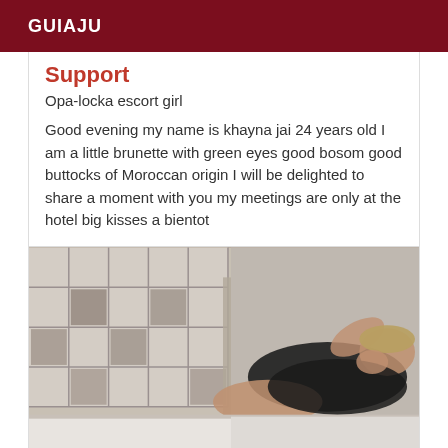GUIAJU
Support
Opa-locka escort girl
Good evening my name is khayna jai 24 years old I am a little brunette with green eyes good bosom good buttocks of Moroccan origin I will be delighted to share a moment with you my meetings are only at the hotel big kisses a bientot
[Figure (photo): Woman in black clothing lying down in a bathroom with tiled walls, photographed from above]